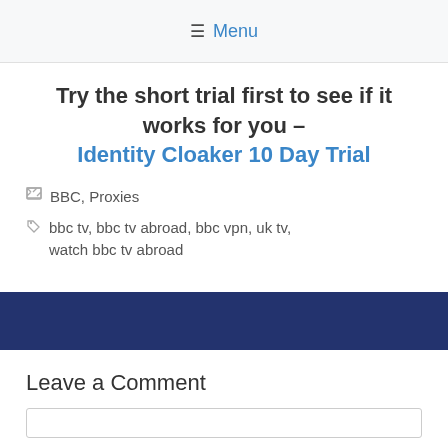≡ Menu
Try the short trial first to see if it works for you – Identity Cloaker 10 Day Trial
BBC, Proxies
bbc tv, bbc tv abroad, bbc vpn, uk tv, watch bbc tv abroad
[Figure (other): Dark navy blue banner strip]
Leave a Comment